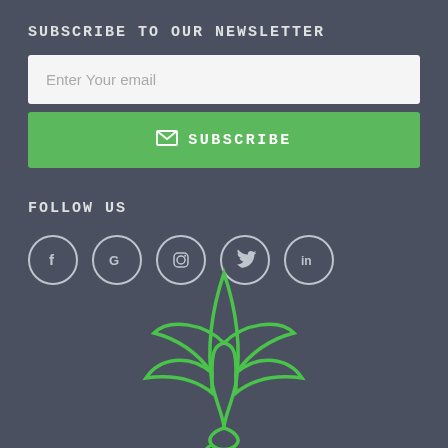SUBSCRIBE TO OUR NEWSLETTER
Enter Your email
SUBSCRIBE
FOLLOW US
[Figure (illustration): Five social media icons in circles: Facebook, Google, Instagram, Twitter, LinkedIn]
[Figure (logo): Green cannabis/hemp leaf plant logo with a snake or stem wrapping at the base, outline style]